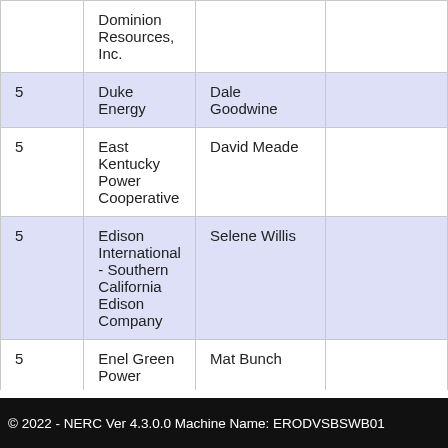|  | Organization | Name |  |
| --- | --- | --- | --- |
|  | Dominion Resources, Inc. |  |  |
| 5 | Duke Energy | Dale Goodwine |  |
| 5 | East Kentucky Power Cooperative | David Meade |  |
| 5 | Edison International - Southern California Edison Company | Selene Willis |  |
| 5 | Enel Green Power | Mat Bunch |  |
| 5 |  |  |  |
© 2022 - NERC Ver 4.3.0.0 Machine Name: ERODVSBSWB01